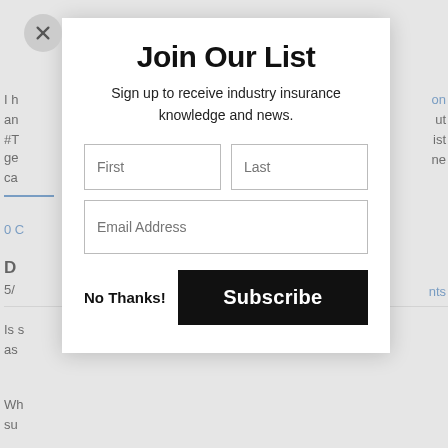Join Our List
Sign up to receive industry insurance knowledge and news.
[Figure (screenshot): Email subscription modal form with First, Last, and Email Address input fields, a 'No Thanks!' text link, and a black 'Subscribe' button. A circular close button (X) is in the upper left of the modal.]